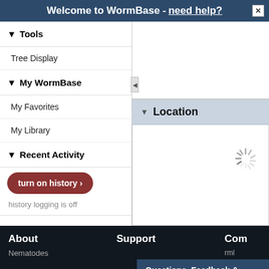Welcome to WormBase - need help? ×
▾ Tools
Tree Display
▾ My WormBase
My Favorites
My Library
▾ Recent Activity
turn on history ›
history logging is off
Comments
▾ Location
About  Support  Com  Questions, Feedback & Help +  Nematodes  ...rml
About
Support
Com
Questions, Feedback & Help +
Nematodes